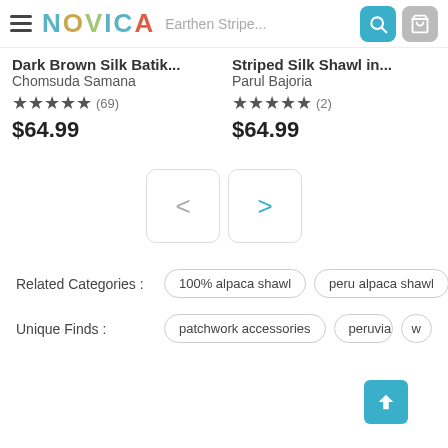[Figure (screenshot): NOVICA e-commerce website header with hamburger menu, NOVICA logo, search bar showing 'Earthen Stripe...', search icon button (teal), and cart icon button (grey)]
Dark Brown Silk Batik...
Chomsuda Samana
★★★★★ (69)
$64.99
Striped Silk Shawl in...
Parul Bajoria
★★★★★ (2)
$64.99
[Figure (other): Pagination navigation with previous (<) and next (>) buttons]
Related Categories :
100% alpaca shawl
peru alpaca shawl
i...
Unique Finds :
patchwork accessories
peruvian access...
w...